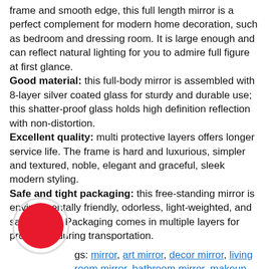frame and smooth edge, this full length mirror is a perfect complement for modern home decoration, such as bedroom and dressing room. It is large enough and can reflect natural lighting for you to admire full figure at first glance. Good material: this full-body mirror is assembled with 8-layer silver coated glass for sturdy and durable use; this shatter-proof glass holds high definition reflection with non-distortion. Excellent quality: multi protective layers offers longer service life. The frame is hard and luxurious, simpler and textured, noble, elegant and graceful, sleek modern styling. Safe and tight packaging: this free-standing mirror is environmentally friendly, odorless, light-weighted, and safe to use. Packaging comes in multiple layers for protection during transportation.
Tags: mirror, art mirror, decor mirror, living room mirror, bathroom mirror, makeup mirror, mirror makeover, house interior, Navado